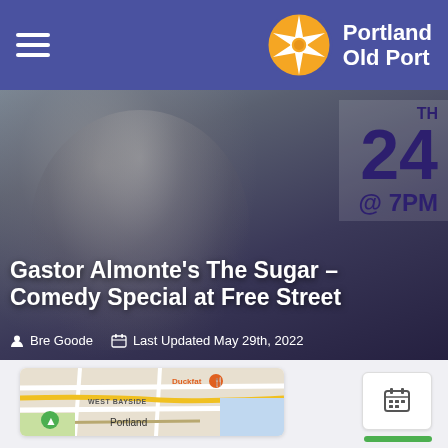Portland Old Port
[Figure (photo): Hero image of Gastor Almonte laughing, wearing a hoodie and glasses, with a dark overlay. Top right shows '24 TH @ 7PM' in dark purple text.]
Gastor Almonte's The Sugar – Comedy Special at Free Street
Bre Goode   Last Updated May 29th, 2022
[Figure (map): Google Maps snippet showing West Bayside area with Duckfat restaurant marker, Portland label visible.]